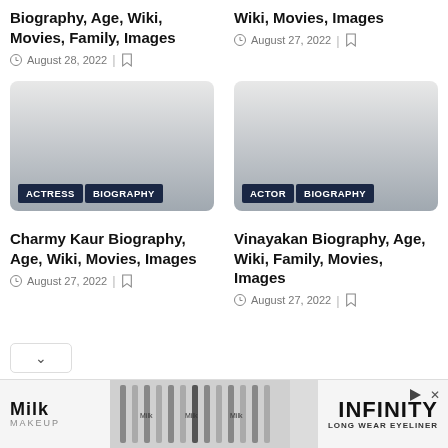Biography, Age, Wiki, Movies, Family, Images
August 28, 2022
Wiki, Movies, Images
August 27, 2022
[Figure (photo): Article card image with ACTRESS and BIOGRAPHY tags at bottom]
[Figure (photo): Article card image with ACTOR and BIOGRAPHY tags at bottom]
Charmy Kaur Biography, Age, Wiki, Movies, Images
August 27, 2022
Vinayakan Biography, Age, Wiki, Family, Movies, Images
August 27, 2022
[Figure (advertisement): Milk Makeup Infinity Long Wear Eyeliner advertisement]